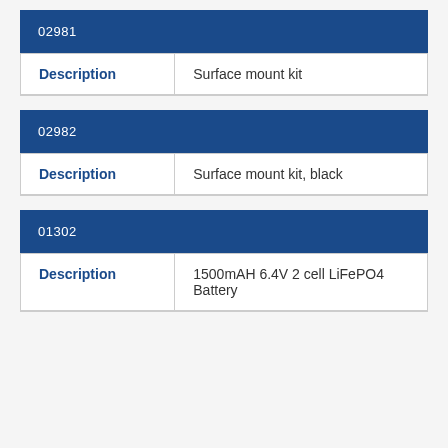| 02981 |  |
| --- | --- |
| Description | Surface mount kit |
| 02982 |  |
| --- | --- |
| Description | Surface mount kit, black |
| 01302 |  |
| --- | --- |
| Description | 1500mAH 6.4V 2 cell LiFePO4 Battery |